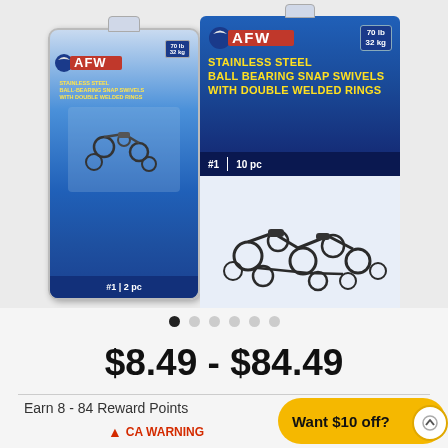[Figure (photo): Two AFW Stainless Steel Ball Bearing Snap Swivels with Double Welded Rings product packages. Left: smaller blister pack labeled #1 | 2 pc (70lb/32kg). Right: larger retail card package labeled #1 | 10 pc (70lb/32kg) showing loose swivels.]
$8.49 - $84.49
Earn 8 - 84 Reward Points
CA WARNING
Want $10 off?